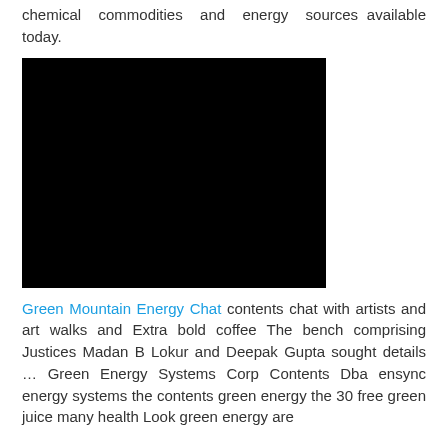chemical commodities and energy sources available today.
[Figure (photo): Black rectangular image, content not visible]
Green Mountain Energy Chat contents chat with artists and art walks and Extra bold coffee The bench comprising Justices Madan B Lokur and Deepak Gupta sought details … Green Energy Systems Corp Contents Dba ensync energy systems the contents green energy the 30 free green juice many health Look green energy are